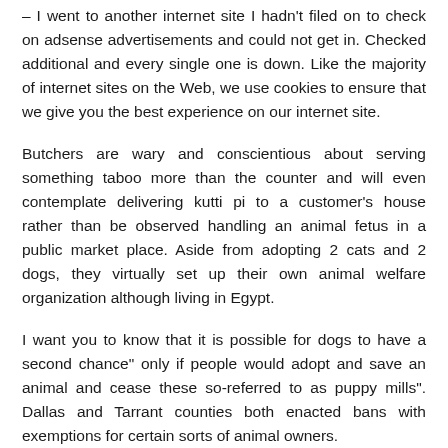– I went to another internet site I hadn't filed on to check on adsense advertisements and could not get in. Checked additional and every single one is down. Like the majority of internet sites on the Web, we use cookies to ensure that we give you the best experience on our internet site.
Butchers are wary and conscientious about serving something taboo more than the counter and will even contemplate delivering kutti pi to a customer's house rather than be observed handling an animal fetus in a public market place. Aside from adopting 2 cats and 2 dogs, they virtually set up their own animal welfare organization although living in Egypt.
I want you to know that it is possible for dogs to have a second chance" only if people would adopt and save an animal and cease these so-referred to as puppy mills". Dallas and Tarrant counties both enacted bans with exemptions for certain sorts of animal owners.
Beneath the new law that took effect September 1, a county can